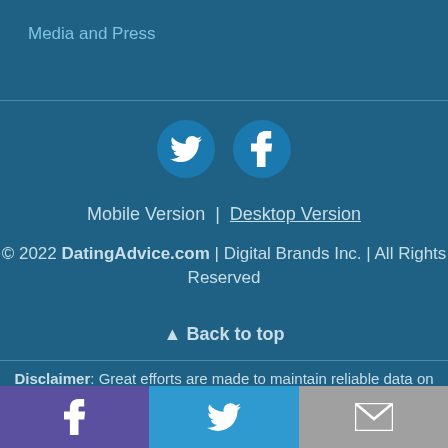Media and Press
[Figure (illustration): Twitter bird icon in a blue circle]
[Figure (illustration): Facebook f icon in a blue circle]
Mobile Version  |  Desktop Version
© 2022 DatingAdvice.com | Digital Brands Inc. | All Rights Reserved
▲ Back to top
Disclaimer: Great efforts are made to maintain reliable data on all offers presented. However, this data is provided without warranty. Users should always check the offer
[Figure (illustration): Bottom bar with Facebook, Twitter, and email icons]